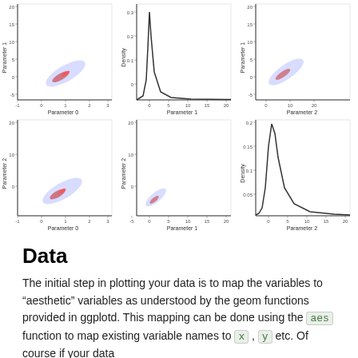[Figure (continuous-plot): 3x2 grid of scatter plots and density plots showing Parameter 0, 1, 2 relationships. Top row: scatter plot Parameter 1 vs Parameter 0 (blue/red cloud); density plot of Parameter 1 (right-skewed); scatter plot Parameter 1 vs Parameter 2. Bottom row: scatter plot Parameter 2 vs Parameter 0; scatter plot Parameter 2 vs Parameter 1; density plot of Parameter 2 (right-skewed bell shape).]
Data
The initial step in plotting your data is to map the variables to “aesthetic” variables as understood by the geom functions provided in ggplotd. This mapping can be done using the aes function to map existing variable names to x , y etc. Of course if your data